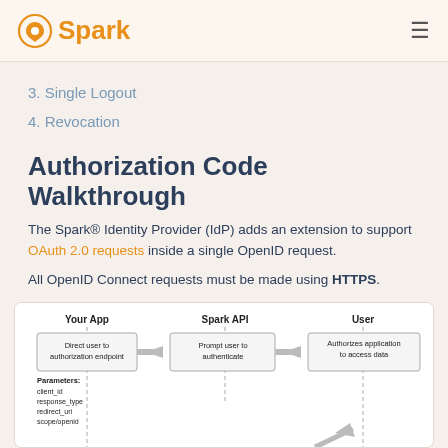Spark
3. Single Logout
4. Revocation
Authorization Code Walkthrough
The Spark® Identity Provider (IdP) adds an extension to support OAuth 2.0 requests inside a single OpenID request.
All OpenID Connect requests must be made using HTTPS.
[Figure (flowchart): Flowchart showing three columns: Your App (Direct user to authorization endpoint), Spark API (Prompt user to authenticate), User (Authorizes application to access data), with arrows between them and a Parameters list below Your App showing client_id, response_type, redirect_uri, scope/openid]